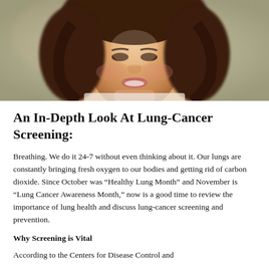[Figure (photo): Close-up photo of a smiling woman with dark wavy hair, cropped at chin/neck level, with a blurred background]
An In-Depth Look At Lung-Cancer Screening:
Breathing. We do it 24-7 without even thinking about it. Our lungs are constantly bringing fresh oxygen to our bodies and getting rid of carbon dioxide. Since October was “Healthy Lung Month” and November is “Lung Cancer Awareness Month,” now is a good time to review the importance of lung health and discuss lung-cancer screening and prevention.
Why Screening is Vital
According to the Centers for Disease Control and